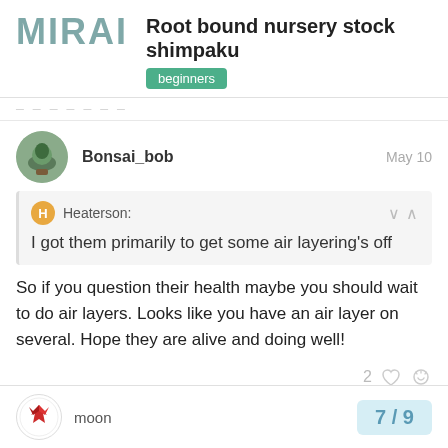MIRAI — Root bound nursery stock shimpaku [beginners]
Bonsai_bob · May 10
Heaterson: I got them primarily to get some air layering's off
So if you question their health maybe you should wait to do air layers. Looks like you have an air layer on several. Hope they are alive and doing well!
2 ♡
moon · 7/9